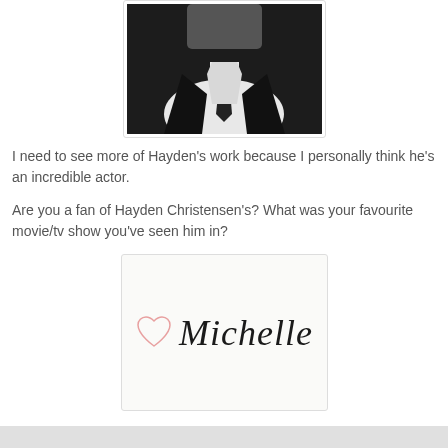[Figure (photo): Black and white photo of a man in a dark suit with a black tie, cropped at chest level, head partially visible at top]
I need to see more of Hayden's work because I personally think he's an incredible actor.
Are you a fan of Hayden Christensen's? What was your favourite movie/tv show you've seen him in?
[Figure (illustration): Signature image with a pink hand-drawn heart outline and the name 'Michelle' in handwritten script on a light cream background]